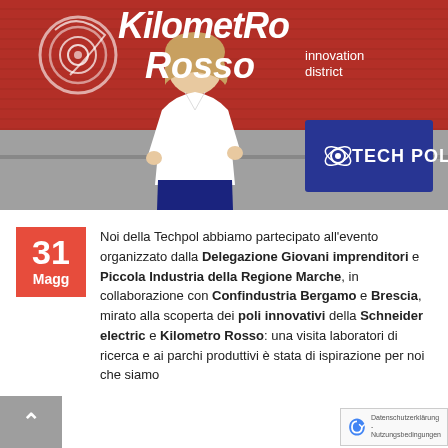[Figure (photo): Photo of a woman standing in front of Kilometro Rosso innovation district sign with red background and Techpol badge in corner]
31 Magg
Noi della Techpol abbiamo partecipato all'evento organizzato dalla Delegazione Giovani imprenditori e Piccola Industria della Regione Marche, in collaborazione con Confindustria Bergamo e Brescia, mirato alla scoperta dei poli innovativi della Schneider electric e Kilometro Rosso: una visita laboratori di ricerca e ai parchi produttivi è stata di ispirazione per noi che siamo